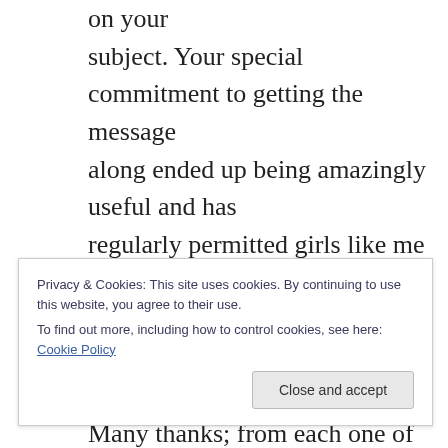on your subject. Your special commitment to getting the message along ended up being amazingly useful and has regularly permitted girls like me to get to their pursuits. The helpful information entails a lot to me and even further to my mates. Many thanks; from each one of us. I together with my guys have already been analyzing the best points found on the blog then unexpectedly I got an awful feeling
Privacy & Cookies: This site uses cookies. By continuing to use this website, you agree to their use. To find out more, including how to control cookies, see here: Cookie Policy